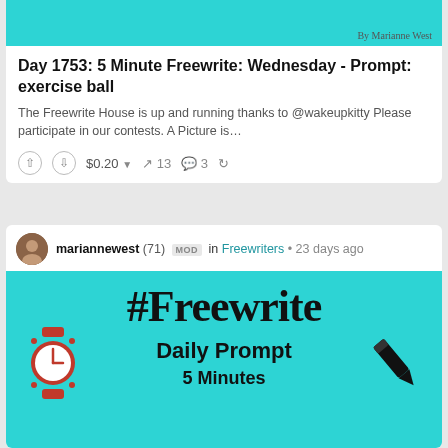[Figure (screenshot): Teal/cyan colored top portion of a blog post card with 'By Marianne West' signature]
Day 1753: 5 Minute Freewrite: Wednesday - Prompt: exercise ball
The Freewrite House is up and running thanks to @wakeupkitty Please participate in our contests. A Picture is…
↑ ↓ $0.20 ▾ ↑ 13 💬 3 ↩
mariannewest (71) MOD in Freewriters • 23 days ago
[Figure (illustration): #Freewrite Daily Prompt 5 Minutes image with teal background, watch icon, pen icon, and 'By Marianne West' signature]